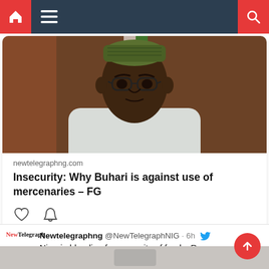Navigation bar with home, menu, and search icons
[Figure (photo): Photo of President Buhari seated in a white chair, wearing a green traditional cap and glasses, in front of a Nigerian flag]
newtelegraphng.com
Insecurity: Why Buhari is against use of mercenaries – FG
Newtelegraphng @NewTelegraphNIG · 6h  Nigeria bleeding from paucity of funds, Reps newtelegraphng.com/nigeria-bleedi...